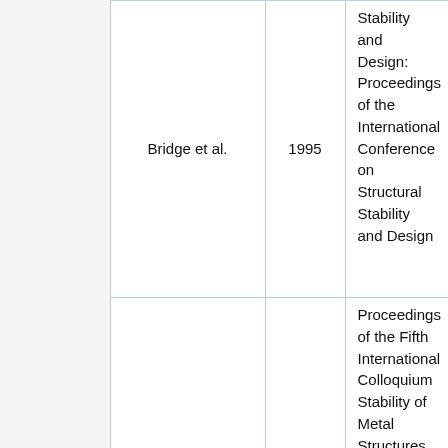|  | Author | Year | Publication |
| --- | --- | --- | --- |
|  | Bridge et al. | 1995 | Stability and Design: Proceedings of the International Conference on Structural Stability and Design |
|  | Bridge & O'Shea | 1996 | Proceedings of the Fifth International Colloquium Stability of Metal Structures (North American Session)... |